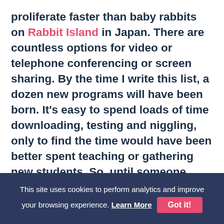proliferate faster than baby rabbits on Rabbit Island in Japan. There are countless options for video or telephone conferencing or screen sharing. By the time I write this list, a dozen new programs will have been born. It's easy to spend loads of time downloading, testing and niggling, only to find the time would have been better spent teaching or gathering new students. So, until someone literally pushes a new option under my nose, I'm sticking with Skype, Zoom or Wiz IQ.
This site uses cookies to perform analytics and improve your browsing experience. Learn More  Got it!